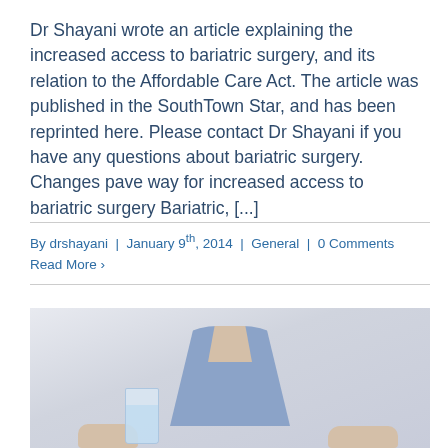Dr Shayani wrote an article explaining the increased access to bariatric surgery, and its relation to the Affordable Care Act. The article was published in the SouthTown Star, and has been reprinted here. Please contact Dr Shayani if you have any questions about bariatric surgery. Changes pave way for increased access to bariatric surgery Bariatric, [...]
By drshayani | January 9th, 2014 | General | 0 Comments
Read More ›
[Figure (photo): Photo of a person wearing a blue v-neck shirt holding a glass of water, blurred background]